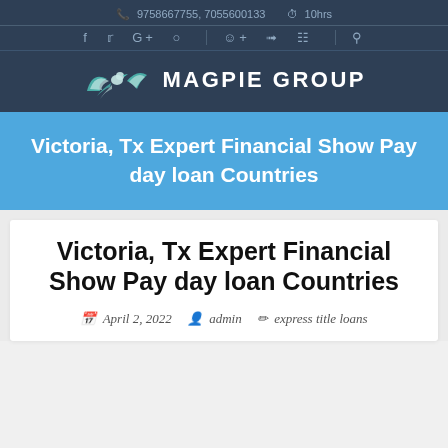9758667755, 7055600133   10hrs
[Figure (logo): Magpie Group logo with stylized bird and text MAGPIE GROUP]
Victoria, Tx Expert Financial Show Pay day loan Countries
Victoria, Tx Expert Financial Show Pay day loan Countries
April 2, 2022   admin   express title loans